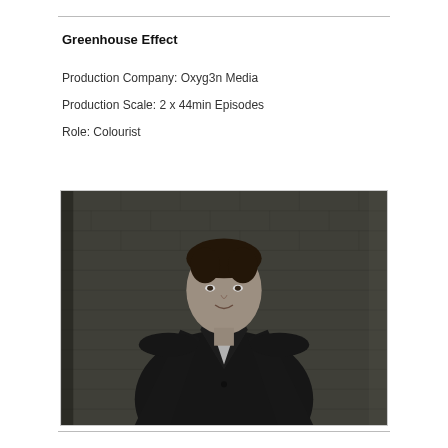Greenhouse Effect
Production Company: Oxyg3n Media
Production Scale: 2 x 44min Episodes
Role: Colourist
[Figure (photo): Black and white portrait photo of a man in a dark coat standing in front of a brick wall, looking at the camera with a slight smile.]